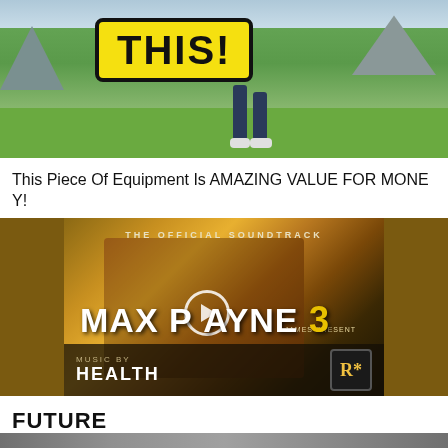[Figure (photo): Outdoor scene with yellow sign reading THIS! and person's legs visible on green field with mountains in background]
This Piece Of Equipment Is AMAZING VALUE FOR MONEY!
[Figure (photo): Max Payne 3 Official Soundtrack album cover with man's face, play button overlay, Rockstar Games logo, Music by HEALTH text]
FUTURE
[Figure (photo): Partially visible image at bottom of page]